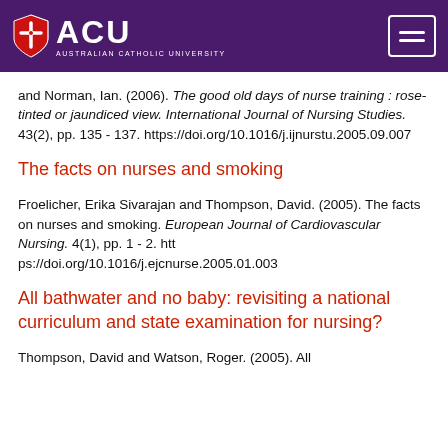[Figure (logo): ACU Australian Catholic University logo with shield on purple header bar and hamburger menu icon]
and Norman, Ian. (2006). The good old days of nurse training : rose-tinted or jaundiced view. International Journal of Nursing Studies. 43(2), pp. 135 - 137. https://doi.org/10.1016/j.ijnurstu.2005.09.007
The facts on nurses and smoking
Froelicher, Erika Sivarajan and Thompson, David. (2005). The facts on nurses and smoking. European Journal of Cardiovascular Nursing. 4(1), pp. 1 - 2. https://doi.org/10.1016/j.ejcnurse.2005.01.003
All bathwater and no baby: revisiting a national curriculum and state examination for nursing?
Thompson, David and Watson, Roger. (2005). All